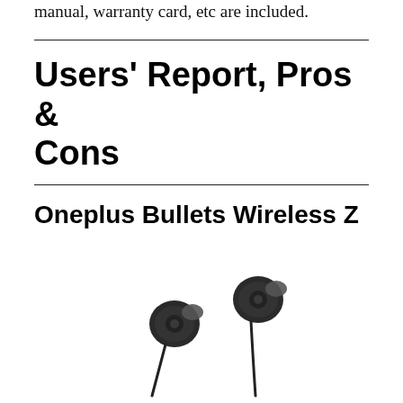manual, warranty card, etc are included.
Users' Report, Pros & Cons
Oneplus Bullets Wireless Z
[Figure (photo): Photo of Oneplus Bullets Wireless Z earphones showing two earbuds with cables on a white background]